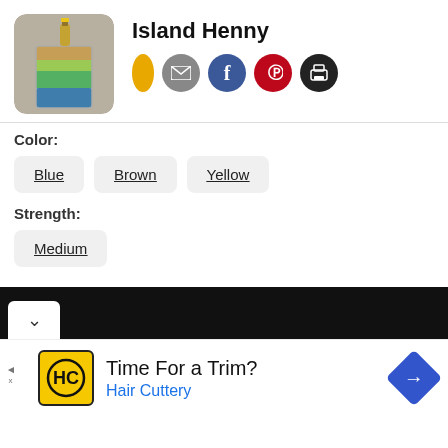[Figure (photo): Photo of a layered cocktail drink in a glass with colorful liquid layers (blue, green, brown) and a small bottle on top. Rounded square thumbnail.]
Island Henny
[Figure (infographic): Social sharing buttons row: yellow oval/bookmark, gray email circle, blue Facebook circle, red Pinterest circle, black print circle]
Color:
Blue
Brown
Yellow
Strength:
Medium
[Figure (infographic): Advertisement banner: Hair Cuttery logo (HC in yellow square), text 'Time For a Trim?' and 'Hair Cuttery' in blue, blue diamond arrow icon on right. Small ad label and x at bottom left.]